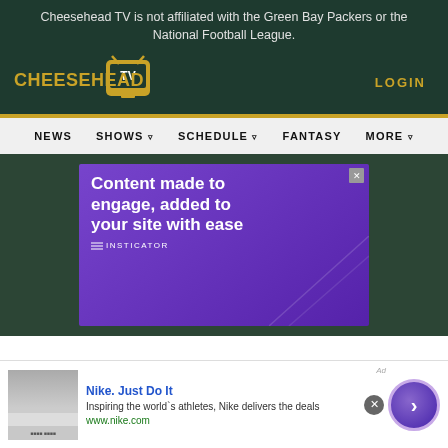Cheesehead TV is not affiliated with the Green Bay Packers or the National Football League.
[Figure (logo): Cheesehead TV logo — yellow stylized text with a green TV icon]
LOGIN
NEWS   SHOWS ▾   SCHEDULE ▾   FANTASY   MORE ▾
[Figure (screenshot): Insticator advertisement with purple background reading 'Content made to engage, added to your site with ease' with INSTICATOR branding]
[Figure (infographic): Nike advertisement: 'Nike. Just Do It' — Inspiring the world's athletes, Nike delivers the deals — www.nike.com, with arrow circle button]